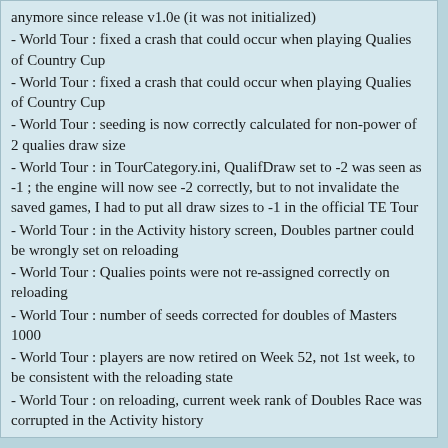anymore since release v1.0e (it was not initialized)
- World Tour : fixed a crash that could occur when playing Qualies of Country Cup
- World Tour : fixed a crash that could occur when playing Qualies of Country Cup
- World Tour : seeding is now correctly calculated for non-power of 2 qualies draw size
- World Tour : in TourCategory.ini, QualifDraw set to -2 was seen as -1 ; the engine will now see -2 correctly, but to not invalidate the saved games, I had to put all draw sizes to -1 in the official TE Tour
- World Tour : in the Activity history screen, Doubles partner could be wrongly set on reloading
- World Tour : Qualies points were not re-assigned correctly on reloading
- World Tour : number of seeds corrected for doubles of Masters 1000
- World Tour : players are now retired on Week 52, not 1st week, to be consistent with the reloading state
- World Tour : on reloading, current week rank of Doubles Race was corrupted in the Activity history
- World Tour : rankings were miscalculated on reloading
- World Tour : Players with Wildcard were not getting the "WC" flag in the draw
- World Tour : in Doubles Race, missed important tournaments were not